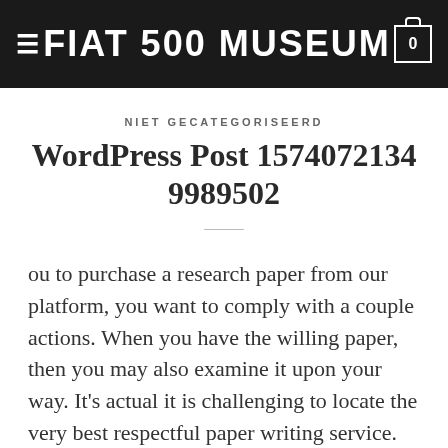FIAT 500 MUSEUM
NIET GECATEGORISEERD
WordPress Post 15740721349989502
ou to purchase a research paper from our platform, you want to comply with a couple actions. When you have the willing paper, then you may also examine it upon your way. It's actual it is challenging to locate the very best respectful paper writing service. Thus the exact first and best thing you'll need to consider about while selecting a term paper writing service is ensure the website